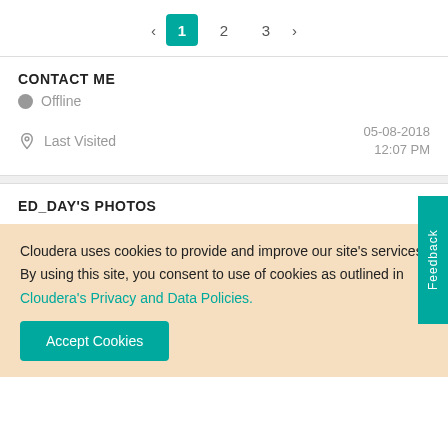< 1 2 3 >
CONTACT ME
Offline
Last Visited  05-08-2018 12:07 PM
ED_DAY'S PHOTOS
Cloudera uses cookies to provide and improve our site's services. By using this site, you consent to use of cookies as outlined in Cloudera's Privacy and Data Policies.
Accept Cookies